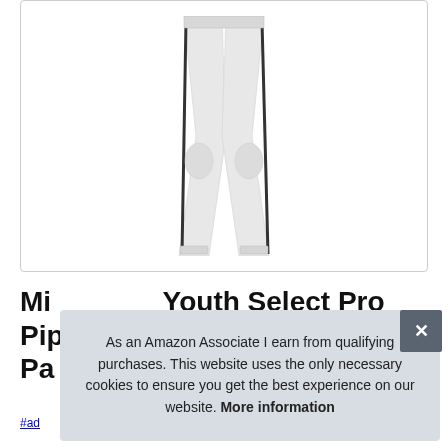[Figure (photo): Product image of white baseball pants with black stripe down the side, shown from approximately the waist down on white background inside a bordered card.]
Mi Youth Select Pro Piped OB Pa
As an Amazon Associate I earn from qualifying purchases. This website uses the only necessary cookies to ensure you get the best experience on our website. More information
#ad